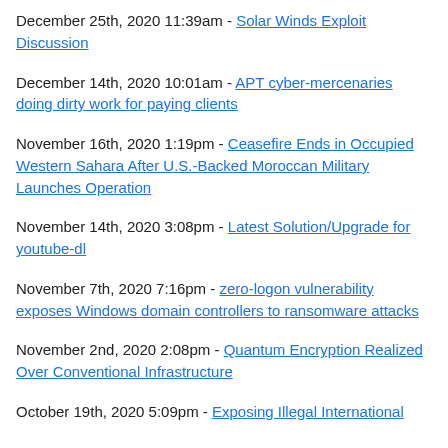December 25th, 2020 11:39am - Solar Winds Exploit Discussion
December 14th, 2020 10:01am - APT cyber-mercenaries doing dirty work for paying clients
November 16th, 2020 1:19pm - Ceasefire Ends in Occupied Western Sahara After U.S.-Backed Moroccan Military Launches Operation
November 14th, 2020 3:08pm - Latest Solution/Upgrade for youtube-dl
November 7th, 2020 7:16pm - zero-logon vulnerability exposes Windows domain controllers to ransomware attacks
November 2nd, 2020 2:08pm - Quantum Encryption Realized Over Conventional Infrastructure
October 19th, 2020 5:09pm - Exposing Illegal International